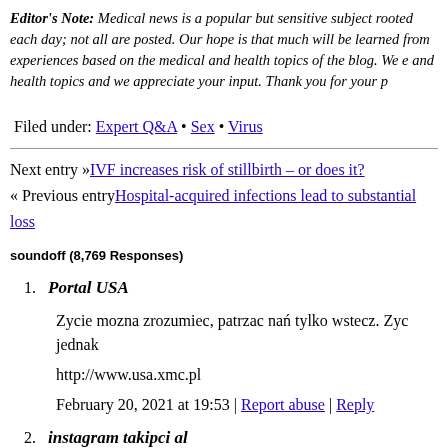Editor's Note: Medical news is a popular but sensitive subject rooted each day; not all are posted. Our hope is that much will be learned from experiences based on the medical and health topics of the blog. We e and health topics and we appreciate your input. Thank you for your p
Filed under: Expert Q&A • Sex • Virus
Next entry »IVF increases risk of stillbirth – or does it?
« Previous entryHospital-acquired infections lead to substantial loss
soundoff (8,769 Responses)
1. Portal USA
Zycie mozna zrozumiec, patrzac nań tylko wstecz. Zyc jednak
http://www.usa.xmc.pl
February 20, 2021 at 19:53 | Report abuse | Reply
2. instagram takipci al
Everything is very open with a very clear description of the iss It was definitely informative. Your site is extremely